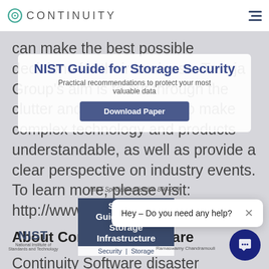CONTINUITY
NIST Guide for Storage Security
Practical recommendations to protect your most valuable data
[Figure (screenshot): Download Paper button overlay]
can make the best possible decisions for their business. Taneja Group's aim is to cut through the clutter and hype, in order to make complex technology and products understandable, as well as provide a clear perspective on industry events. To learn more, please visit: http://www.tanejagroup.com.
About Continuity Software
[Figure (screenshot): NIST Special Publication 800-209 book cover showing Security Guidelines for Storage Infrastructure with Security and Storage text, NIST logo and author Ramaswamy Chandramouli]
Continuity Software disaster recovery (DR) and high availability (HA) management solutions. Its RecoverGuard™ software mitigates data protection and high availability risks by detecting gaps and
[Figure (screenshot): Chat popup: Hey – Do you need any help? with close button, and chat bubble FAB button]